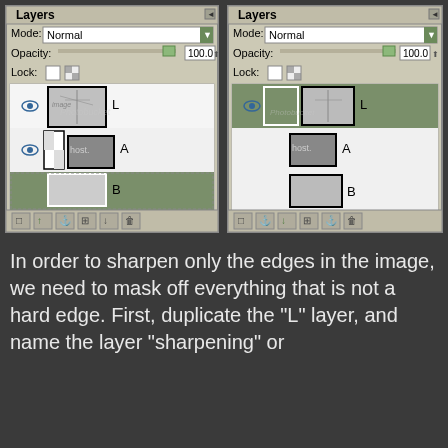[Figure (screenshot): Two GIMP Layers panels side by side. Left panel shows three layers: L (tree image thumbnail), A (mask thumbnail labeled 'host.'), B (gray swatch, selected/highlighted in olive green). Right panel shows same three layers L, A, B but with L layer row selected/highlighted in olive green. Both panels show Mode: Normal, Opacity: 100.0, Lock icons, and toolbar buttons at bottom.]
In order to sharpen only the edges in the image, we need to mask off everything that is not a hard edge. First, duplicate the "L" layer, and name the layer "sharpening" or